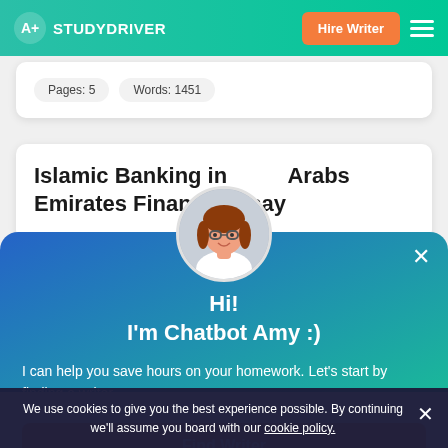STUDYDRIVER — Hire Writer
Pages: 5   Words: 1451
Islamic Banking in United Arabs Emirates Finance Essay
Hi!
I'm Chatbot Amy :)
I can help you save hours on your homework. Let's start by finding a writer.
Find Writer
We use cookies to give you the best experience possible. By continuing we'll assume you board with our cookie policy.